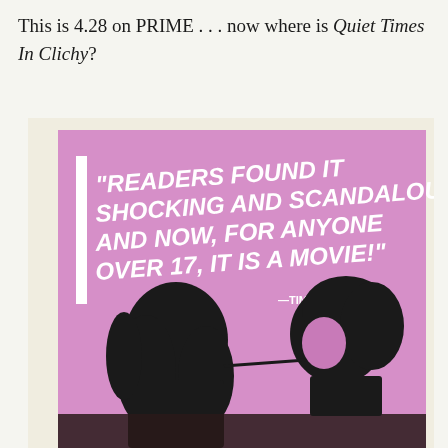This is 4.28 on PRIME . . . now where is Quiet Times In Clichy?
[Figure (photo): Movie poster with pink/violet background. Large bold white italic text reads: "READERS FOUND IT SHOCKING AND SCANDALOUS! AND NOW, FOR ANYONE OVER 17, IT IS A MOVIE!" with attribution —TIME MAGAZINE. Below the text are two black silhouette figures against the pink background — one with long hair on the left, one with shorter curly hair on the right.]